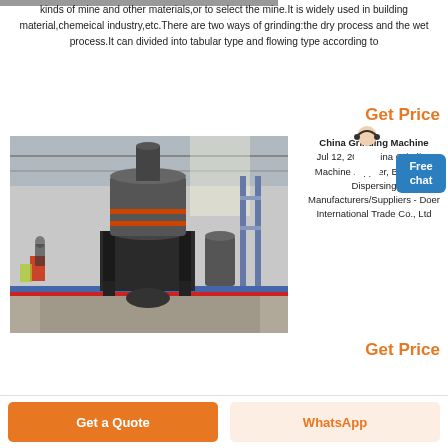[Figure (photo): Partial photo of industrial machine at top left]
kinds of mine and other materials,or to select the mine.It is widely used in building material,chemeical industry,etc.There are two ways of grinding:the dry process and the wet process.It can divided into tabular type and flowing type according to
Get Price
[Figure (photo): Industrial grinding machine in a factory setting]
China Grinding Machine
Jul 12, 2018China Grinding Machine supplier, Bead Mill, Dispersing Manufacturers/Suppliers - Doer International Trade Co., Ltd
Get Price
Get a Quote
WhatsApp